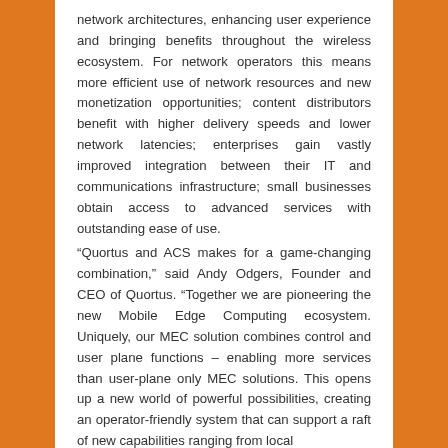network architectures, enhancing user experience and bringing benefits throughout the wireless ecosystem. For network operators this means more efficient use of network resources and new monetization opportunities; content distributors benefit with higher delivery speeds and lower network latencies; enterprises gain vastly improved integration between their IT and communications infrastructure; small businesses obtain access to advanced services with outstanding ease of use.
“Quortus and ACS makes for a game-changing combination,” said Andy Odgers, Founder and CEO of Quortus. “Together we are pioneering the new Mobile Edge Computing ecosystem. Uniquely, our MEC solution combines control and user plane functions – enabling more services than user-plane only MEC solutions. This opens up a new world of powerful possibilities, creating an operator-friendly system that can support a raft of new capabilities ranging from local